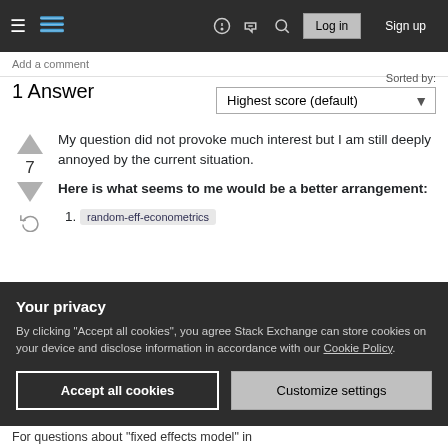Stack Exchange navigation bar with hamburger menu, logo, help, search, log in, sign up
Add a comment
1 Answer
Sorted by: Highest score (default)
My question did not provoke much interest but I am still deeply annoyed by the current situation. Here is what seems to me would be a better arrangement:
random-eff-econometrics
Your privacy
By clicking "Accept all cookies", you agree Stack Exchange can store cookies on your device and disclose information in accordance with our Cookie Policy.
Accept all cookies
Customize settings
For questions about "fixed effects model" in